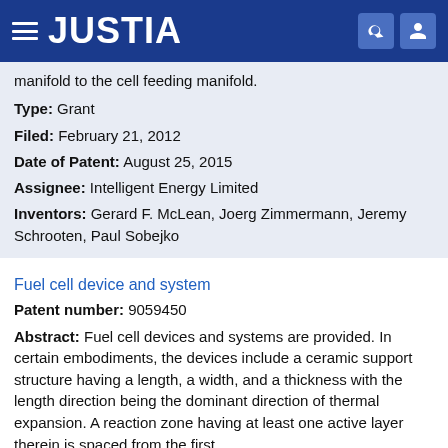JUSTIA
manifold to the cell feeding manifold.
Type: Grant
Filed: February 21, 2012
Date of Patent: August 25, 2015
Assignee: Intelligent Energy Limited
Inventors: Gerard F. McLean, Joerg Zimmermann, Jeremy Schrooten, Paul Sobejko
Fuel cell device and system
Patent number: 9059450
Abstract: Fuel cell devices and systems are provided. In certain embodiments, the devices include a ceramic support structure having a length, a width, and a thickness with the length direction being the dominant direction of thermal expansion. A reaction zone having at least one active layer therein is spaced from the first